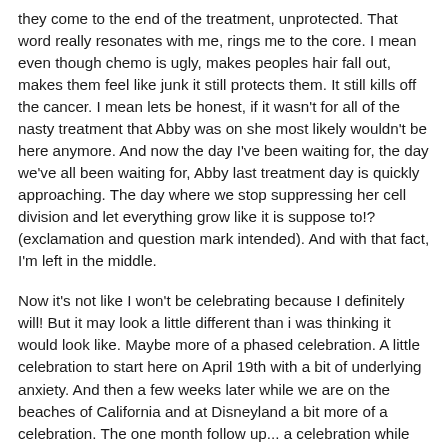they come to the end of the treatment, unprotected. That word really resonates with me, rings me to the core. I mean even though chemo is ugly, makes peoples hair fall out, makes them feel like junk it still protects them. It still kills off the cancer. I mean lets be honest, if it wasn't for all of the nasty treatment that Abby was on she most likely wouldn't be here anymore. And now the day I've been waiting for, the day we've all been waiting for, Abby last treatment day is quickly approaching. The day where we stop suppressing her cell division and let everything grow like it is suppose to!? (exclamation and question mark intended). And with that fact, I'm left in the middle.
Now it's not like I won't be celebrating because I definitely will! But it may look a little different than i was thinking it would look like. Maybe more of a phased celebration. A little celebration to start here on April 19th with a bit of underlying anxiety. And then a few weeks later while we are on the beaches of California and at Disneyland a bit more of a celebration. The one month follow up... a celebration while holding my breath for the blood counts to come back. And then this fall when she gets her med-o-port removed a bit more of a party. October we will be going on her wish trip...